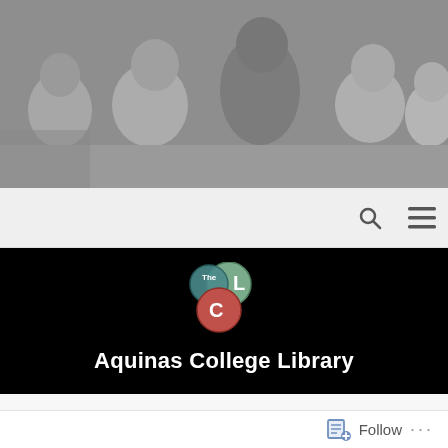[Figure (photo): Group of students sitting together, smiling and laughing, faded grayscale photo used as header banner]
[Figure (logo): The CLC logo - three overlapping circles in green, red/pink, and teal with letters C, L, and 'The' inside]
Aquinas College Library
Word of the Day – Tyro
Follow ...